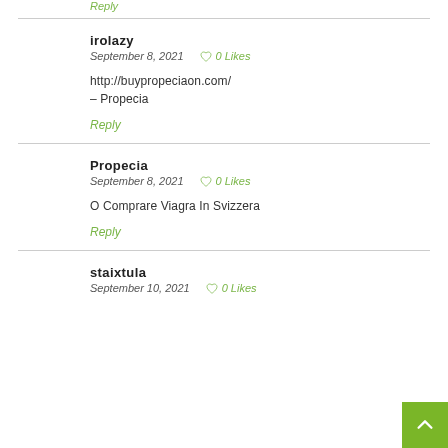Reply (partial, top)
irolazy
September 8, 2021  0 Likes
http://buypropeciaon.com/ – Propecia
Reply
Propecia
September 8, 2021  0 Likes
O Comprare Viagra In Svizzera
Reply
staixtula
September 10, 2021  0 Likes